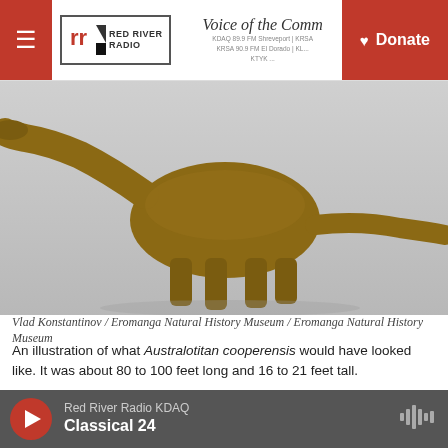Voice of the Comm | Red River Radio | KDAQ 89.9 FM Shreveport | KRSA | KRSA 90.9 FM El Dorado | KL... | KTYK | Donate
[Figure (illustration): A digital illustration of Australotitan cooperensis, a large sauropod dinosaur shown in side profile against a gray gradient background. The dinosaur is brown/orange with a long neck extending to the left and a long tail extending to the right.]
Vlad Konstantinov / Eromanga Natural History Museum / Eromanga Natural History Museum
An illustration of what Australotitan cooperensis would have looked like. It was about 80 to 100 feet long and 16 to 21 feet tall.
Australotitan cooperensis is now a new species of a type of dinosaur called sauropods, which had long necks and tails, as well as four legs, and ate plants. The researchers say the new species is closely
Red River Radio KDAQ | Classical 24